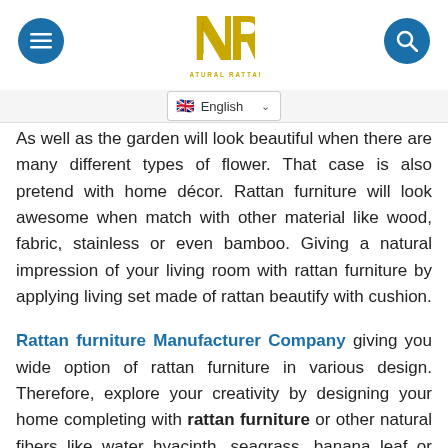Natural Rattan - NR logo with menu and search buttons
English language selector
As well as the garden will look beautiful when there are many different types of flower. That case is also pretend with home décor. Rattan furniture will look awesome when match with other material like wood, fabric, stainless or even bamboo. Giving a natural impression of your living room with rattan furniture by applying living set made of rattan beautify with cushion.
Rattan furniture Manufacturer Company giving you wide option of rattan furniture in various design. Therefore, explore your creativity by designing your home completing with rattan furniture or other natural fibers like water hyacinth, seagrass, banana leaf or abaca.
Share this: